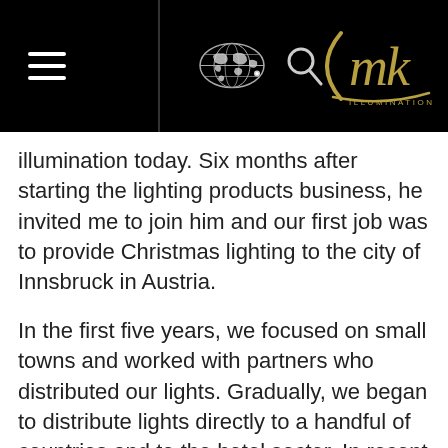MK Illumination — navigation header with hamburger menu, world map icon, search icon, and CMK Illumination logo
illumination today. Six months after starting the lighting products business, he invited me to join him and our first job was to provide Christmas lighting to the city of Innsbruck in Austria.
In the first five years, we focused on small towns and worked with partners who distributed our lights. Gradually, we began to distribute lights directly to a handful of countries and to the hotel sector. In recent years, we have concentrated our efforts on the shopping center, tourism and leisure market, specializing in projects in the festive and themed lighting sector. We were one of the first companies in the world to implement LED solutions in festive lighting installations. When we formed the company all those years ago, we never expected that in 2017